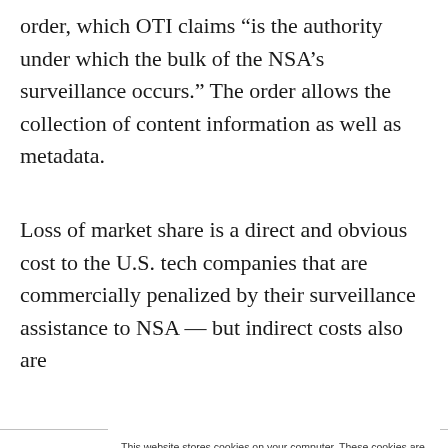order, which OTI claims “is the authority under which the bulk of the NSA’s surveillance occurs.” The order allows the collection of content information as well as metadata.
Loss of market share is a direct and obvious cost to the U.S. tech companies that are commercially penalized by their surveillance assistance to NSA — but indirect costs also are
This website stores cookies on your computer. These cookies are used to collect information about how you interact with our website and allow us to remember you. We use this information in order to improve and customize your browsing experience and for analytics and metrics about our visitors both on this website and other media. To find out more about the cookies we use, see our Privacy Policy. California residents have the right to direct us not to sell their personal information to third parties by filing an Opt-Out Request: Do Not Sell My Personal Info.
Accept